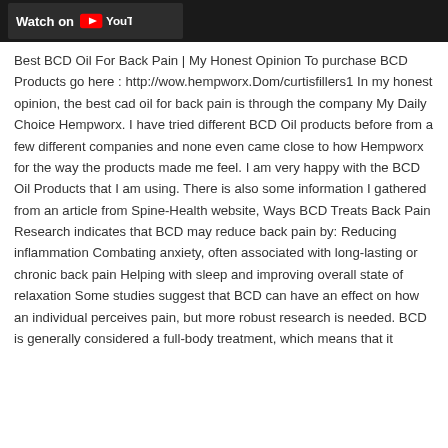[Figure (screenshot): YouTube watch bar at top of page, dark background with 'Watch on YouTube' button]
Best BCD Oil For Back Pain | My Honest Opinion To purchase BCD Products go here : http://wow.hempworx.Dom/curtisfillers1 In my honest opinion, the best cad oil for back pain is through the company My Daily Choice Hempworx. I have tried different BCD Oil products before from a few different companies and none even came close to how Hempworx for the way the products made me feel. I am very happy with the BCD Oil Products that I am using. There is also some information I gathered from an article from Spine-Health website, Ways BCD Treats Back Pain Research indicates that BCD may reduce back pain by: Reducing inflammation Combating anxiety, often associated with long-lasting or chronic back pain Helping with sleep and improving overall state of relaxation Some studies suggest that BCD can have an effect on how an individual perceives pain, but more robust research is needed. BCD is generally considered a full-body treatment, which means that it